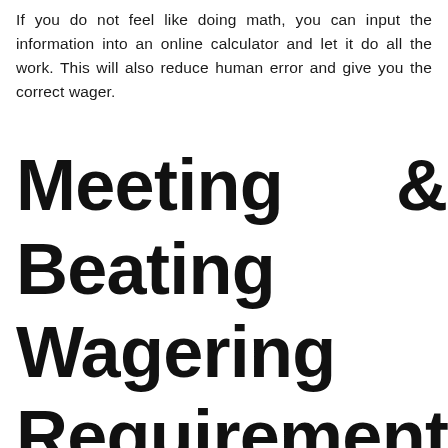If you do not feel like doing math, you can input the information into an online calculator and let it do all the work. This will also reduce human error and give you the correct wager.
Meeting & Beating Wagering Requirements